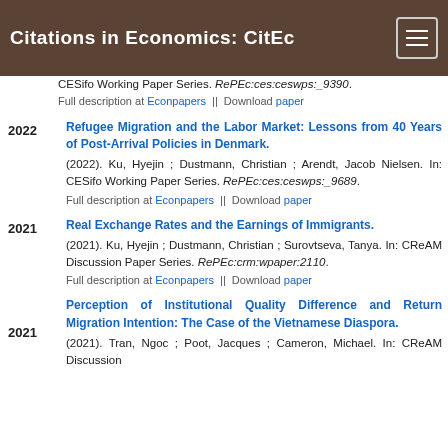Citations in Economics: CitEc
CESifo Working Paper Series. RePEc:ces:ceswps:_9390.
Full description at Econpapers || Download paper
Refugee Migration and the Labor Market: Lessons from 40 Years of Post-Arrival Policies in Denmark. (2022). Ku, Hyejin ; Dustmann, Christian ; Arendt, Jacob Nielsen. In: CESifo Working Paper Series. RePEc:ces:ceswps:_9689.
Full description at Econpapers || Download paper
Real Exchange Rates and the Earnings of Immigrants. (2021). Ku, Hyejin ; Dustmann, Christian ; Surovtseva, Tanya. In: CReAM Discussion Paper Series. RePEc:crm:wpaper:2110.
Full description at Econpapers || Download paper
Perception of Institutional Quality Difference and Return Migration Intention: The Case of the Vietnamese Diaspora. (2021). Tran, Ngoc ; Poot, Jacques ; Cameron, Michael. In: CReAM Discussion